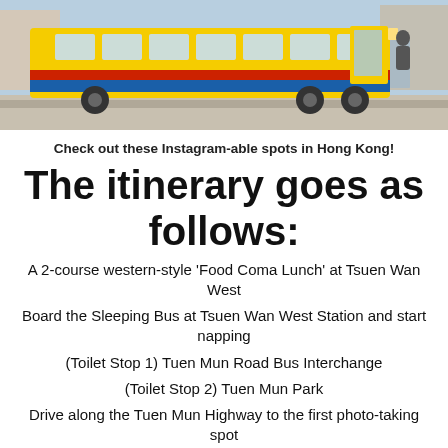[Figure (photo): A yellow, blue and red double-door bus on a city street in Hong Kong]
Check out these Instagram-able spots in Hong Kong!
The itinerary goes as follows:
A 2-course western-style 'Food Coma Lunch' at Tsuen Wan West
Board the Sleeping Bus at Tsuen Wan West Station and start napping
(Toilet Stop 1) Tuen Mun Road Bus Interchange
(Toilet Stop 2) Tuen Mun Park
Drive along the Tuen Mun Highway to the first photo-taking spot